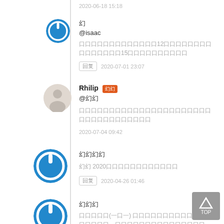2020-06-18 15:18
幻 @isaac
回复内容（中文），提到了12个字符，以及另外15个字符的内容
回复 2020-07-01 23:07
Rhilip 幻 @幻
回复内容（中文），超过三十个字符的回复内容
2020-07-04 09:42
幻幻幻幻
幻幻 2020年的一些内容信息
回复 2020-04-26 01:46
幻幻幻